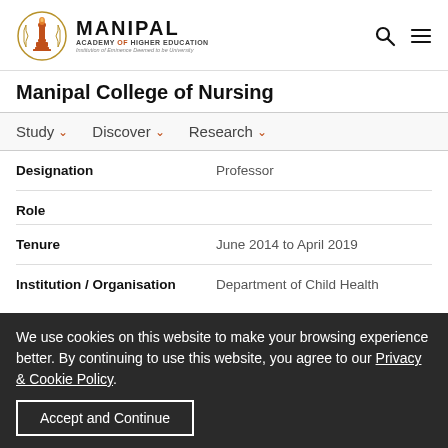Manipal Academy of Higher Education
Manipal College of Nursing
Study  Discover  Research
| Field | Value |
| --- | --- |
| Designation | Professor |
| Role |  |
| Tenure | June 2014 to April 2019 |
| Institution / Organisation | Department of Child Health |
We use cookies on this website to make your browsing experience better. By continuing to use this website, you agree to our Privacy & Cookie Policy.
Accept and Continue